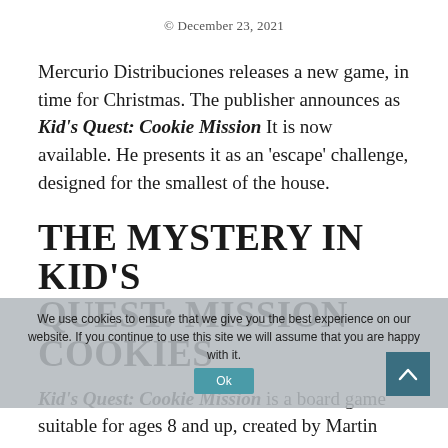© December 23, 2021
Mercurio Distribuciones releases a new game, in time for Christmas. The publisher announces as Kid's Quest: Cookie Mission It is now available. He presents it as an 'escape' challenge, designed for the smallest of the house.
THE MYSTERY IN KID'S QUEST: MISSION COOKIES
We use cookies to ensure that we give you the best experience on our website. If you continue to use this site we will assume that you are happy with it.
Kid's Quest: Cookie Mission is a board game suitable for ages 8 and up, created by Martin